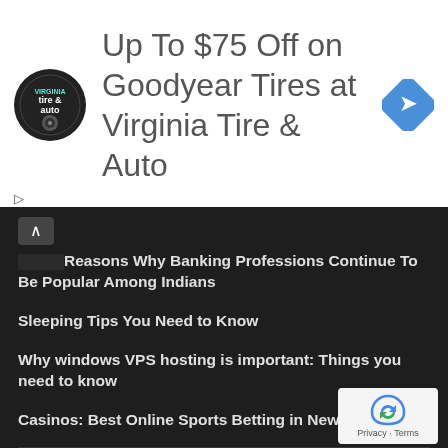[Figure (advertisement): Advertisement banner for Virginia Tire & Auto with logo circle, text 'Up To $75 Off on Goodyear Tires at Virginia Tire & Auto', and a blue diamond navigation icon]
Reasons Why Banking Professions Continue To Be Popular Among Indians
Sleeping Tips You Need to Know
Why windows VPS hosting is important: Things you need to know
Casinos: Best Online Sports Betting in New York
About Us / Contact Us / Privacy Policy / Terms and Conditions
© 2021 Forex News Trader. All Rights Reserved.